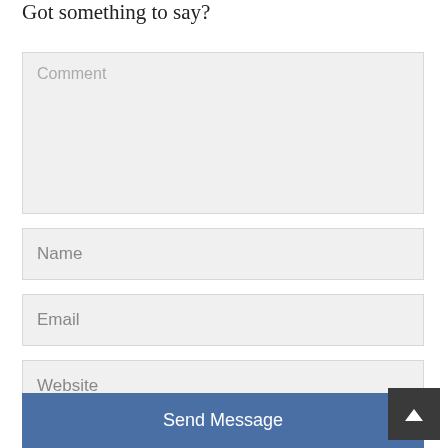Got something to say?
Comment
Name
Email
Website
Send Message